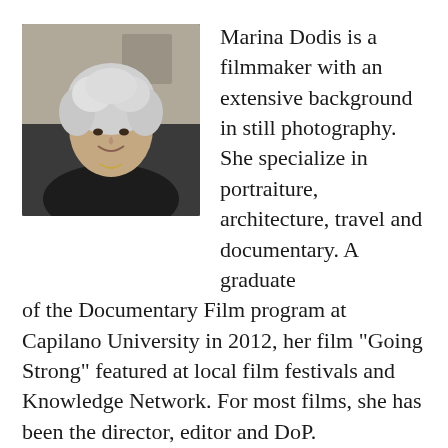[Figure (photo): Headshot of Marina Dodis, an older woman with short curly white/grey hair, wearing a dark top, smiling, photographed indoors.]
Marina Dodis is a filmmaker with an extensive background in still photography.  She specialize in portraiture, architecture, travel and documentary. A graduate of the Documentary Film program at Capilano University in 2012, her film “Going Strong” featured at local film festivals and Knowledge Network. For most films, she has been the director, editor and DoP.
Marina’s films focus on the environment, culture and social justice. Clients include Vancouver Foundation,  Bard Graduate Center